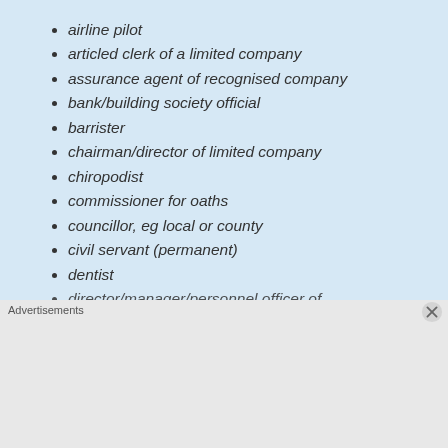airline pilot
articled clerk of a limited company
assurance agent of recognised company
bank/building society official
barrister
chairman/director of limited company
chiropodist
commissioner for oaths
councillor, eg local or county
civil servant (permanent)
dentist
director/manager/personnel officer of
[Figure (infographic): DuckDuckGo advertisement banner with orange background showing 'Search, browse, and email with more privacy. All in One Free App' with DuckDuckGo logo on a phone mockup]